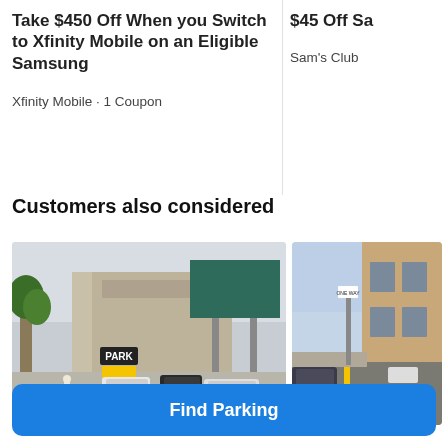Take $450 Off When you Switch to Xfinity Mobile on an Eligible Samsung
Xfinity Mobile · 1 Coupon
$45 Off Sa
Sam's Club
Customers also considered
[Figure (photo): Street-level photo of a parking lot with a PARK sign on the building facade, several cars parked, and a large billboard structure on the right side of the lot.]
[Figure (photo): Partial street-level photo of a city street with buildings and a road with yellow lane markings.]
Find Parking